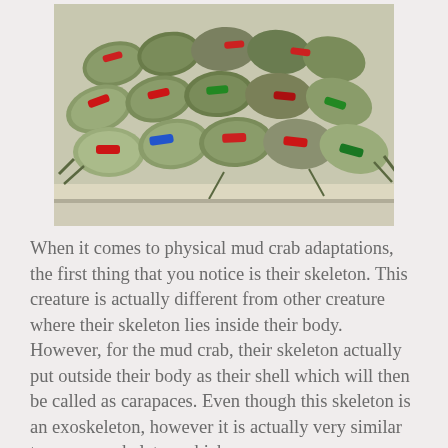[Figure (photo): A large tray filled with multiple mud crabs stacked together, with red, green, and blue rubber bands tied around their claws. The crabs have olive-green shells and are densely packed on a white surface.]
When it comes to physical mud crab adaptations, the first thing that you notice is their skeleton. This creature is actually different from other creature where their skeleton lies inside their body. However, for the mud crab, their skeleton actually put outside their body as their shell which will then be called as carapaces. Even though this skeleton is an exoskeleton, however it is actually very similar to our own skeleton which